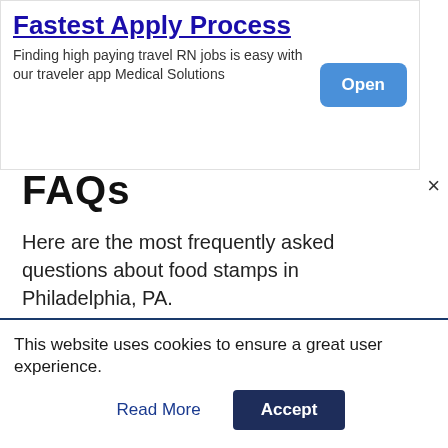[Figure (other): Advertisement banner: 'Fastest Apply Process' - Finding high paying travel RN jobs is easy with our traveler app Medical Solutions, with an 'Open' button]
FAQs
Here are the most frequently asked questions about food stamps in Philadelphia, PA.
What Grocery Stores accept EBT in Philadelphia County?
There are over 921 stores that take Food Stamps in Philadelphia, PA.
This website uses cookies to ensure a great user experience.